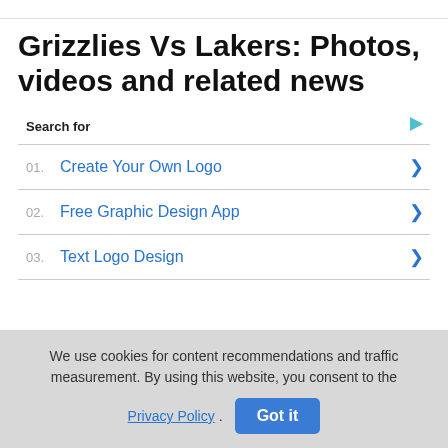Grizzlies Vs Lakers: Photos, videos and related news
Search for
01. Create Your Own Logo
02. Free Graphic Design App
03. Text Logo Design
We use cookies for content recommendations and traffic measurement. By using this website, you consent to the Privacy Policy.